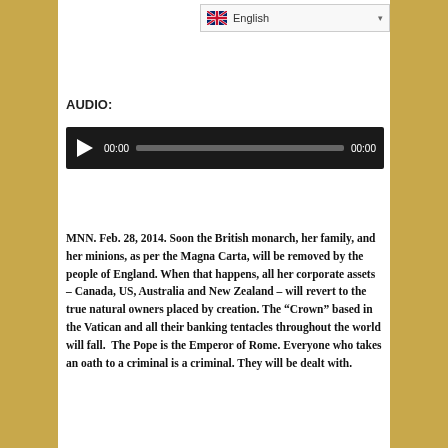[Figure (screenshot): Language selector dropdown showing English with UK flag]
AUDIO:
[Figure (other): Audio player widget with play button, time display 00:00, progress bar, and end time 00:00 on dark background]
MNN. Feb. 28, 2014. Soon the British monarch, her family, and her minions, as per the Magna Carta, will be removed by the people of England. When that happens, all her corporate assets – Canada, US, Australia and New Zealand – will revert to the true natural owners placed by creation. The "Crown" based in the Vatican and all their banking tentacles throughout the world will fall.  The Pope is the Emperor of Rome. Everyone who takes an oath to a criminal is a criminal. They will be dealt with.